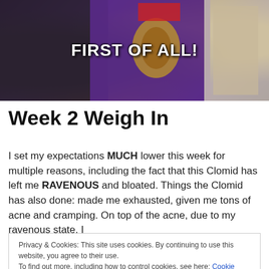[Figure (photo): A photo banner showing a person in a purple and gold ornate robe/costume. White bold text overlay reads 'FIRST OF ALL!']
Week 2 Weigh In
I set my expectations MUCH lower this week for multiple reasons, including the fact that this Clomid has left me RAVENOUS and bloated. Things the Clomid has also done: made me exhausted, given me tons of acne and cramping. On top of the acne, due to my ravenous state, I
Privacy & Cookies: This site uses cookies. By continuing to use this website, you agree to their use.
To find out more, including how to control cookies, see here: Cookie Policy
Close and accept